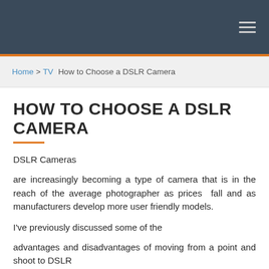≡ (hamburger menu icon)
Home > TV How to Choose a DSLR Camera
HOW TO CHOOSE A DSLR CAMERA
DSLR Cameras
are increasingly becoming a type of camera that is in the reach of the average photographer as prices fall and as manufacturers develop more user friendly models.
I've previously discussed some of the
advantages and disadvantages of moving from a point and shoot to DSLR